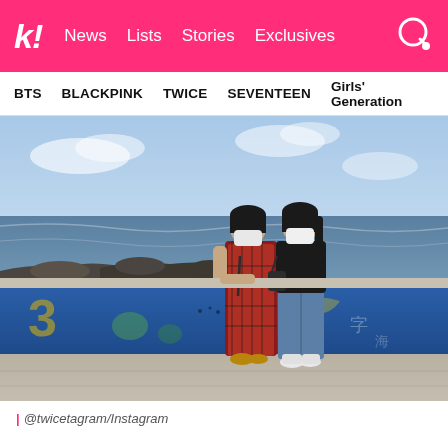k! News Lists Stories Exclusives
BTS  BLACKPINK  TWICE  SEVENTEEN  Girls' Generation
[Figure (photo): Two young women wearing face masks leaning against a blue painted seawall with murals, with ocean and rocky coastline in the background. One wears a red plaid dress, the other a black top and jeans.]
| @twicetagram/Instagram